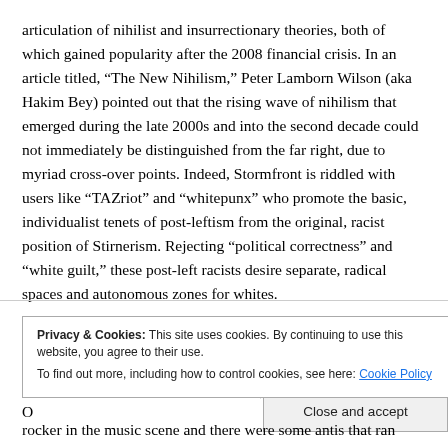articulation of nihilist and insurrectionary theories, both of which gained popularity after the 2008 financial crisis. In an article titled, “The New Nihilism,” Peter Lamborn Wilson (aka Hakim Bey) pointed out that the rising wave of nihilism that emerged during the late 2000s and into the second decade could not immediately be distinguished from the far right, due to myriad cross-over points. Indeed, Stormfront is riddled with users like “TAZriot” and “whitepunx” who promote the basic, individualist tenets of post-leftism from the original, racist position of Stirnerism. Rejecting “political correctness” and “white guilt,” these post-left racists desire separate, radical spaces and autonomous zones for whites.
Privacy & Cookies: This site uses cookies. By continuing to use this website, you agree to their use.
To find out more, including how to control cookies, see here: Cookie Policy
Close and accept
rocker in the music scene and there were some antis that ran